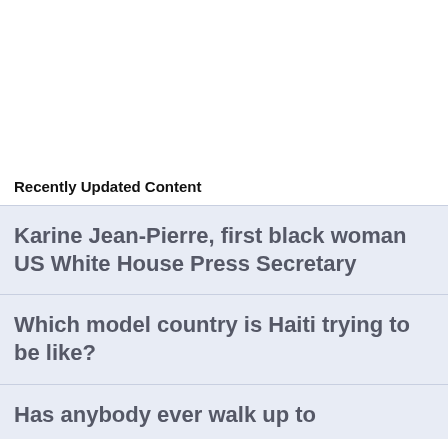Recently Updated Content
Karine Jean-Pierre, first black woman US White House Press Secretary
Which model country is Haiti trying to be like?
Has anybody ever walk up to